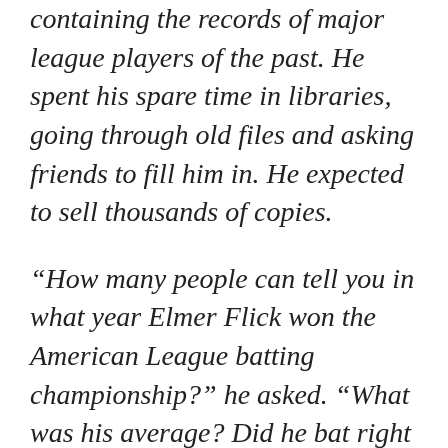baseball needed was a book containing the records of major league players of the past. He spent his spare time in libraries, going through old files and asking friends to fill him in. He expected to sell thousands of copies.
“How many people can tell you in what year Elmer Flick won the American League batting championship?” he asked. “What was his average? Did he bat right or lefthanded? How did he throw? What was his height? His weight? You could have all those questions answered in